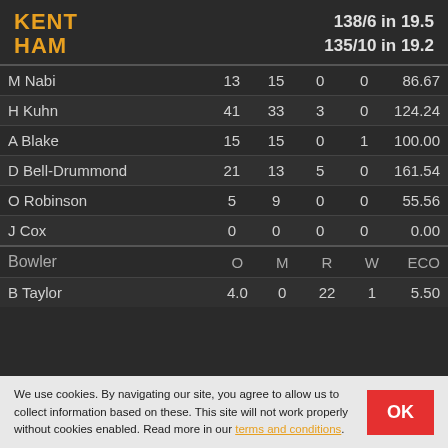KENT HAM  138/6 in 19.5  135/10 in 19.2
| Batter | R | B | 4s | 6s | SR |
| --- | --- | --- | --- | --- | --- |
| M Nabi | 13 | 15 | 0 | 0 | 86.67 |
| H Kuhn | 41 | 33 | 3 | 0 | 124.24 |
| A Blake | 15 | 15 | 0 | 1 | 100.00 |
| D Bell-Drummond | 21 | 13 | 5 | 0 | 161.54 |
| O Robinson | 5 | 9 | 0 | 0 | 55.56 |
| J Cox | 0 | 0 | 0 | 0 | 0.00 |
| Bowler | O | M | R | W | ECO |
| --- | --- | --- | --- | --- | --- |
| B Taylor | 4.0 | 0 | 22 | 1 | 5.50 |
We use cookies. By navigating our site, you agree to allow us to collect information based on these. This site will not work properly without cookies enabled. Read more in our terms and conditions.